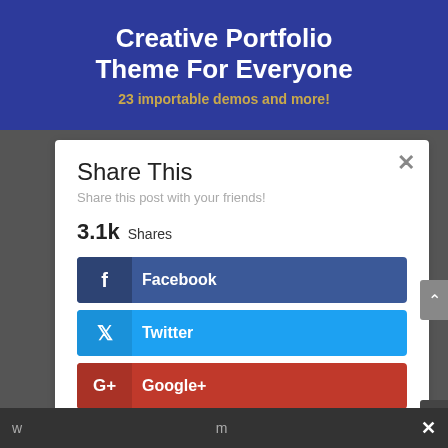[Figure (screenshot): Banner with blue background showing 'Creative Portfolio Theme For Everyone' in white bold text and '23 importable demos and more!' in gold text below]
Share This
Share this post with your friends!
3.1k Shares
Facebook
Twitter
Google+
Pinterest